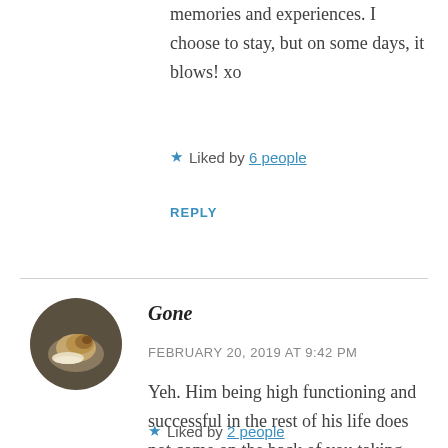memories and experiences. I choose to stay, but on some days, it blows! xo
★ Liked by 6 people
REPLY
[Figure (photo): Circular avatar photo of a snail or shell on a dark background]
Gone
FEBRUARY 20, 2019 AT 9:42 PM
Yeh. Him being high functioning and successful in the rest of his life does not come on the back of you taking the brunt of it
★ Liked by 2 people